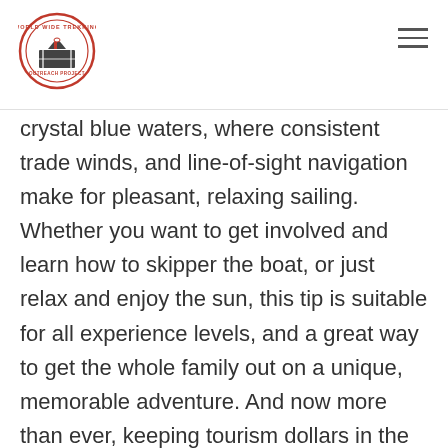World Wide Trekking logo and navigation menu
crystal blue waters, where consistent trade winds, and line-of-sight navigation make for pleasant, relaxing sailing. Whether you want to get involved and learn how to skipper the boat, or just relax and enjoy the sun, this tip is suitable for all experience levels, and a great way to get the whole family out on a unique, memorable adventure. And now more than ever, keeping tourism dollars in the region is crucial to the islands' recovery from recent storms.